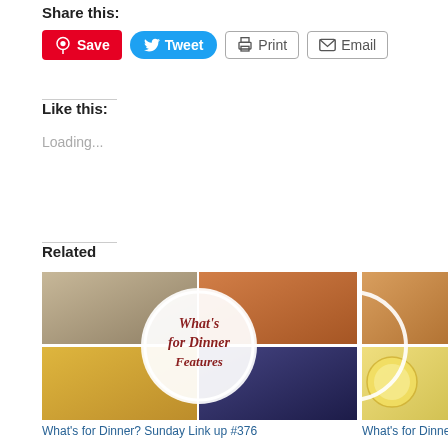Share this:
[Figure (screenshot): Social sharing buttons: Save (Pinterest, red), Tweet (Twitter, blue), Print (gray outlined), Email (gray outlined)]
Like this:
Loading...
Related
[Figure (photo): What's for Dinner? Sunday Link up #376 food collage image with circular overlay text]
What's for Dinner? Sunday Link up #376
[Figure (photo): What's for Dinner partial image showing peanut butter and lemon slices]
What's for Dinne